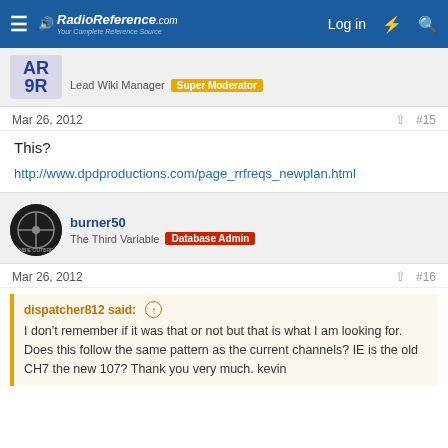RadioReference.com — Log in
[Figure (logo): AR9R user avatar with blue text]
Lead Wiki Manager  Super Moderator
Mar 26, 2012  #15
This?
http://www.dpdproductions.com/page_rrfreqs_newplan.html
[Figure (illustration): burner50 circular avatar with biohazard response team logo]
burner50  The Third Variable  Database Admin
Mar 26, 2012  #16
dispatcher812 said: ↑  I don't remember if it was that or not but that is what I am looking for. Does this follow the same pattern as the current channels? IE is the old CH7 the new 107? Thank you very much. kevin